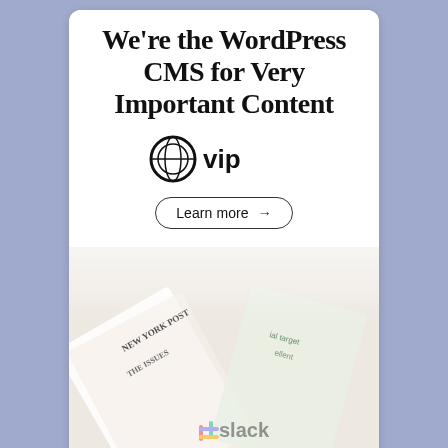[Figure (screenshot): WordPress VIP advertisement banner showing headline text, WP VIP logo, Learn more button, and collage of publication screenshots including New York Post and Slack]
Blog at WordPress.com.